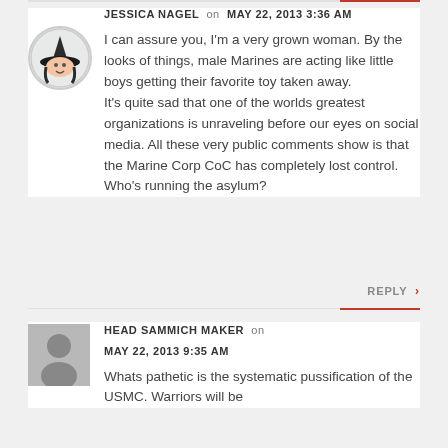JESSICA NAGEL on MAY 22, 2013 3:36 AM
I can assure you, I'm a very grown woman. By the looks of things, male Marines are acting like little boys getting their favorite toy taken away.
It's quite sad that one of the worlds greatest organizations is unraveling before our eyes on social media. All these very public comments show is that the Marine Corp CoC has completely lost control. Who's running the asylum?
REPLY >
HEAD SAMMICH MAKER on MAY 22, 2013 9:35 AM
Whats pathetic is the systematic pussification of the USMC. Warriors will be